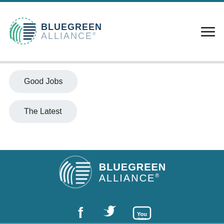[Figure (logo): Bluegreen Alliance logo in header — circular arc/lines icon with BLUEGREEN ALLIANCE text]
Good Jobs
The Latest
[Figure (logo): Bluegreen Alliance logo in white in dark teal footer]
[Figure (infographic): Social media icons: Facebook, Twitter, YouTube]